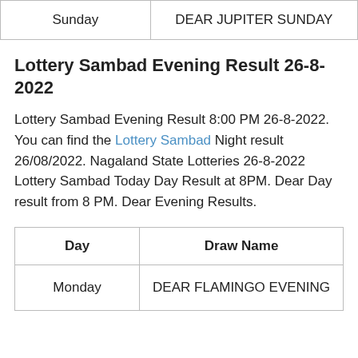| Day | Draw Name |
| --- | --- |
| Sunday | DEAR JUPITER SUNDAY |
Lottery Sambad Evening Result 26-8-2022
Lottery Sambad Evening Result 8:00 PM 26-8-2022. You can find the Lottery Sambad Night result 26/08/2022. Nagaland State Lotteries 26-8-2022 Lottery Sambad Today Day Result at 8PM. Dear Day result from 8 PM. Dear Evening Results.
| Day | Draw Name |
| --- | --- |
| Monday | DEAR FLAMINGO EVENING |